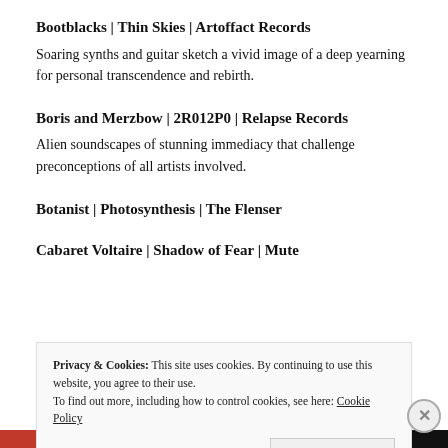Bootblacks | Thin Skies | Artoffact Records
Soaring synths and guitar sketch a vivid image of a deep yearning for personal transcendence and rebirth.
Boris and Merzbow | 2R012P0 | Relapse Records
Alien soundscapes of stunning immediacy that challenge preconceptions of all artists involved.
Botanist | Photosynthesis | The Flenser
Cabaret Voltaire | Shadow of Fear | Mute
Privacy & Cookies: This site uses cookies. By continuing to use this website, you agree to their use.
To find out more, including how to control cookies, see here: Cookie Policy

Close and accept